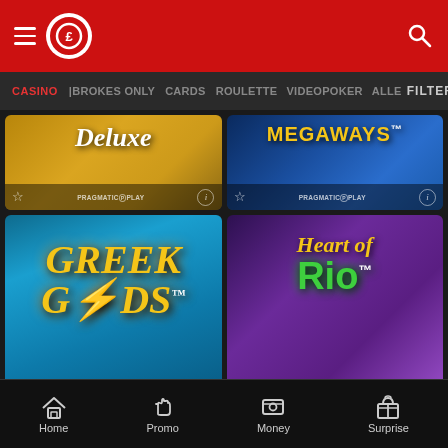[Figure (screenshot): Casino app mobile interface showing game grid with navigation header and bottom nav bar. Games visible include Deluxe, Megaways, Greek Gods, Heart of Rio slots by Pragmatic Play.]
Casino navigation header with logo, hamburger menu, search icon
CASINO | BROKES ONLY | CARDS | ROULETTE | VIDEOPOKER | ALLE | FILTER
Deluxe - Pragmatic Play slot game card
MEGAWAYS™ - Pragmatic Play slot game card
GREEK GODS™ - Pragmatic Play slot game card
Heart of Rio™ - Pragmatic Play slot game card
Home | Promo | Money | Surprise